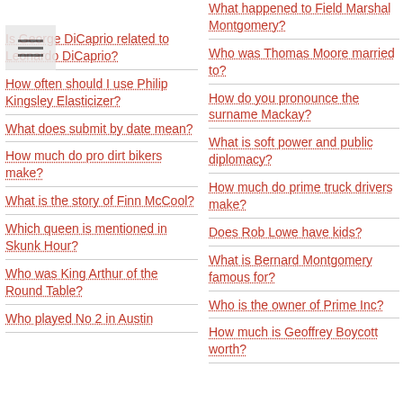Is George DiCaprio related to Leonardo DiCaprio?
How often should I use Philip Kingsley Elasticizer?
What does submit by date mean?
How much do pro dirt bikers make?
What is the story of Finn McCool?
Which queen is mentioned in Skunk Hour?
Who was King Arthur of the Round Table?
Who played No 2 in Austin
What happened to Field Marshal Montgomery?
Who was Thomas Moore married to?
How do you pronounce the surname Mackay?
What is soft power and public diplomacy?
How much do prime truck drivers make?
Does Rob Lowe have kids?
What is Bernard Montgomery famous for?
Who is the owner of Prime Inc?
How much is Geoffrey Boycott worth?